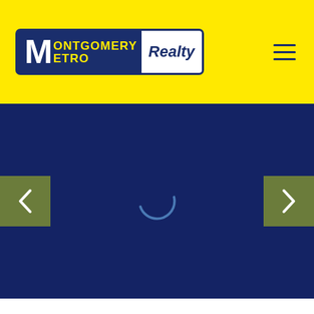[Figure (logo): Montgomery Metro Realty logo — dark navy background with yellow text for MONTGOMERY METRO and white italic REALTY text, enclosed in a rounded navy border]
[Figure (other): Hamburger menu icon — three horizontal dark navy lines on yellow background]
[Figure (photo): Dark navy blue image slider area showing a loading spinner (partial circle arc in blue) with previous and next navigation arrows on olive-green square buttons on either side]
368 BELLEHURST DRIVE MONTGOMERY, AL 36109